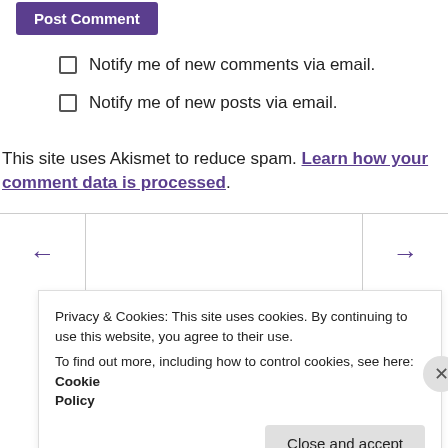Post Comment
Notify me of new comments via email.
Notify me of new posts via email.
This site uses Akismet to reduce spam. Learn how your comment data is processed.
← →
Privacy & Cookies: This site uses cookies. By continuing to use this website, you agree to their use.
To find out more, including how to control cookies, see here: Cookie Policy
Close and accept